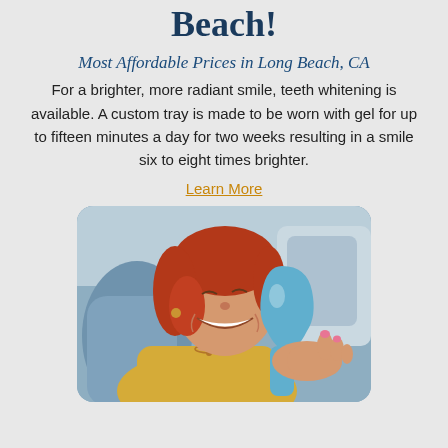Beach!
Most Affordable Prices in Long Beach, CA
For a brighter, more radiant smile, teeth whitening is available. A custom tray is made to be worn with gel for up to fifteen minutes a day for two weeks resulting in a smile six to eight times brighter.
Learn More
[Figure (photo): A smiling woman with red hair sitting in a dental chair, holding a tooth-shaped blue mirror and looking at her smile.]